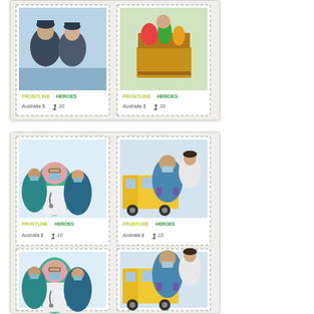[Figure (illustration): Top portion of a card showing two Australian 'Frontline Heroes' postage stamps at $1.10 each. Left stamp shows two people in uniform (police/military), right stamp shows a person with a box of produce/groceries.]
[Figure (illustration): A card showing four Australian 'Frontline Heroes' postage stamps at $1.10 each, arranged in two rows of two. Top row: left stamp shows group of masked healthcare workers (doctors/nurses), right stamp shows a paramedic in front of an ambulance with a nurse. Bottom row repeats the same two stamp designs without text labels visible.]